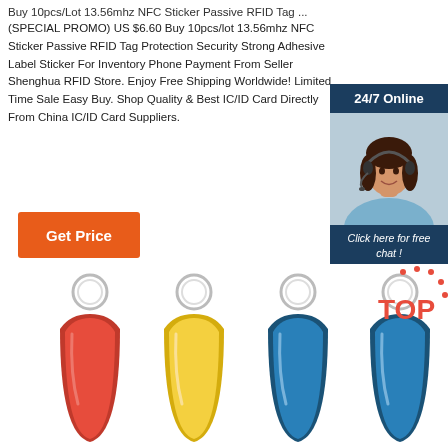Buy 10pcs/Lot 13.56mhz NFC Sticker Passive RFID Tag ...
(SPECIAL PROMO) US $6.60 Buy 10pcs/lot 13.56mhz NFC Sticker Passive RFID Tag Protection Security Strong Adhesive Label Sticker For Inventory Phone Payment From Seller Shenghua RFID Store. Enjoy Free Shipping Worldwide! Limited Time Sale Easy Buy. Shop Quality & Best IC/ID Card Directly From China IC/ID Card Suppliers.
[Figure (infographic): Chat widget with woman wearing headset, '24/7 Online' header, 'Click here for free chat!' text, and orange QUOTATION button on dark blue background]
[Figure (illustration): Orange GET Price button]
[Figure (photo): Four colored key fob RFID tags (red, yellow, blue, and partial blue) with metal rings on white background, with a red TOP badge in the corner]